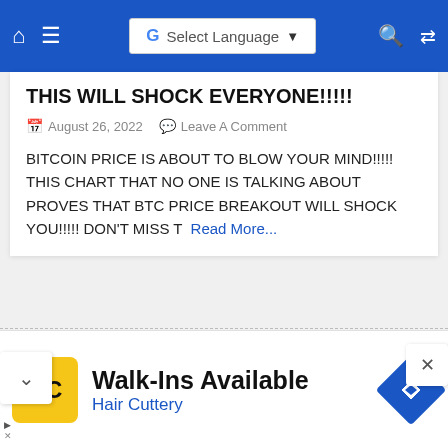Select Language
THIS WILL SHOCK EVERYONE!!!!!
August 26, 2022   Leave A Comment
BITCOIN PRICE IS ABOUT TO BLOW YOUR MIND!!!!! THIS CHART THAT NO ONE IS TALKING ABOUT PROVES THAT BTC PRICE BREAKOUT WILL SHOCK YOU!!!!! DON'T MISS T  Read More...
[Figure (photo): Blurred colorful background image with a large red curved arrow pointing left, overlaid on the image strip]
Walk-Ins Available
Hair Cuttery